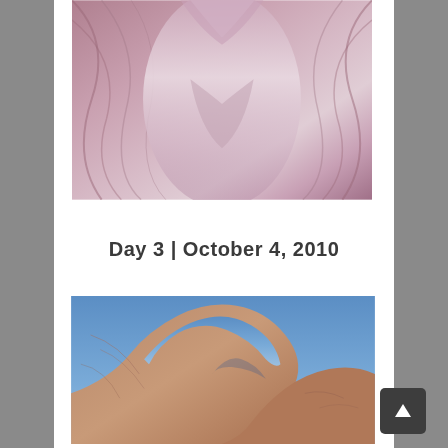[Figure (photo): Close-up of smooth flowing sandstone rock formations with pink and purple hues, likely inside a slot canyon (e.g., Antelope Canyon)]
Day 3 | October 4, 2010
[Figure (photo): Looking up at a large natural sandstone arch (rock arch) against a clear blue sky, with reddish-brown desert rock textures]